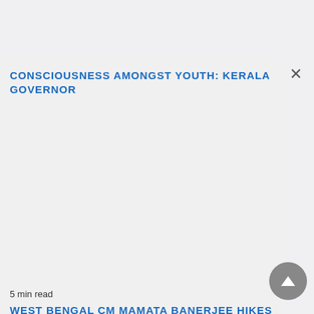CONSCIOUSNESS AMONGST YOUTH: KERALA GOVERNOR
5 min read
WEST BENGAL CM MAMATA BANERJEE HIKES MONETARY HELP FOR DURGA PUJA GOLF